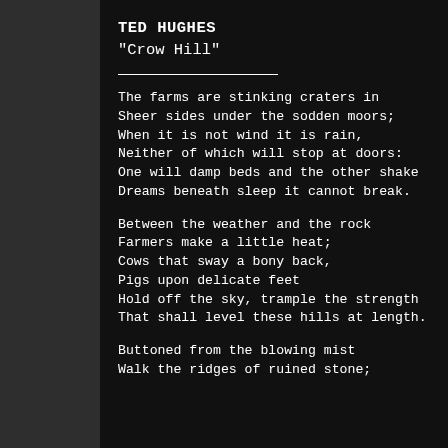TED HUGHES
"Crow Hill"
The farms are stinking craters in
Sheer sides under the sodden moors;
When it is not wind it is rain,
Neither of which will stop at doors:
One will damp beds and the other shake
Dreams beneath sleep it cannot break.
Between the weather and the rock
Farmers make a little heat;
Cows that sway a bony back,
Pigs upon delicate feet
Hold off the sky, trample the strength
That shall level these hills at length.
Buttoned from the blowing mist
Walk the ridges of ruined stone;